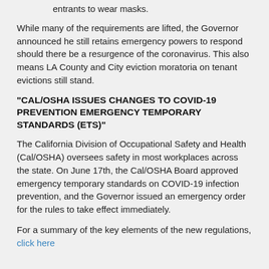entrants to wear masks.
While many of the requirements are lifted, the Governor announced he still retains emergency powers to respond should there be a resurgence of the coronavirus. This also means LA County and City eviction moratoria on tenant evictions still stand.
“CAL/OSHA ISSUES CHANGES TO COVID-19 PREVENTION EMERGENCY TEMPORARY STANDARDS (ETS)”
The California Division of Occupational Safety and Health (Cal/OSHA) oversees safety in most workplaces across the state. On June 17th, the Cal/OSHA Board approved emergency temporary standards on COVID-19 infection prevention, and the Governor issued an emergency order for the rules to take effect immediately.
For a summary of the key elements of the new regulations, click here